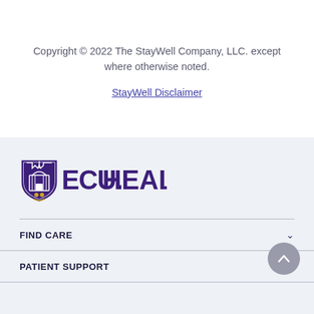Copyright © 2022 The StayWell Company, LLC. except where otherwise noted.
StayWell Disclaimer
[Figure (logo): ECU Health logo with shield icon and text ECU HEALTH in purple]
FIND CARE
PATIENT SUPPORT